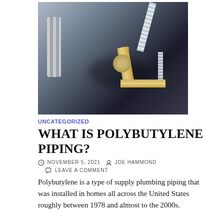[Figure (photo): Close-up photo of polybutylene piping connections with corrugated flex hose, brass fittings, and a green-tinted pipe connector against a dark background]
UNCATEGORIZED
WHAT IS POLYBUTYLENE PIPING?
NOVEMBER 5, 2021   JOE HAMMOND   LEAVE A COMMENT
Polybutylene is a type of supply plumbing piping that was installed in homes all across the United States roughly between 1978 and almost to the 2000s.